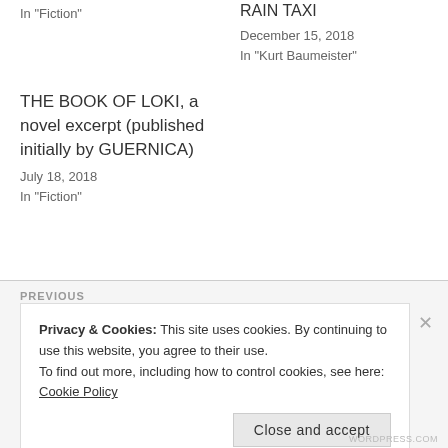In "Fiction"
RAIN TAXI
December 15, 2018
In "Kurt Baumeister"
THE BOOK OF LOKI, a novel excerpt (published initially by GUERNICA)
July 18, 2018
In "Fiction"
PREVIOUS
Privacy & Cookies: This site uses cookies. By continuing to use this website, you agree to their use.
To find out more, including how to control cookies, see here: Cookie Policy
Close and accept